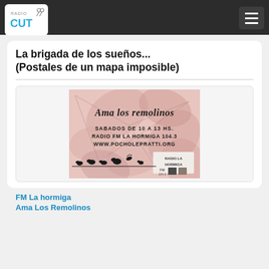Radio Cut — navigation bar with logo and hamburger menu
La brigada de los sueños... (Postales de un mapa imposible)
[Figure (illustration): Radio show promotional image for 'Ama los remolinos' on Radio FM La Hormiga 104.3. Features text: 'Ama los remolinos', 'SABADOS DE 10 A 13 HS.', 'RADIO FM LA HORMIGA 104.3', 'WWW.POCHOLEPRATTI.ORG', 'RADIO LA HORMIGA FM 104.3' with silhouettes of birds on a wire against a pink/rose leaf background.]
FM La hormiga
Ama Los Remolinos